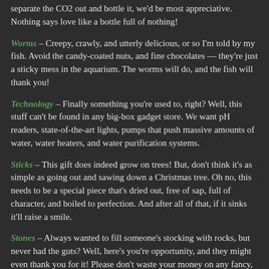separate the CO2 out and bottle it, we'd be most appreciative. Nothing says love like a bottle full of nothing!
Worms – Creepy, crawly, and utterly delicious, or so I'm told by my fish. Avoid the candy-coated nuts, and fine chocolates — they're just a sticky mess in the aquarium. The worms will do, and the fish will thank you!
Technology – Finally something you're used to, right? Well, this stuff can't be found in any big-box gadget store. We want pH readers, state-of-the-art lights, pumps that push massive amounts of water, water heaters, and water purification systems.
Sticks – This gift does indeed grow on trees! But, don't think it's as simple as going out and sawing down a Christmas tree. Oh no, this needs to be a special piece that's dried out, free of sap, full of character, and boiled to perfection. And after all of that, if it sinks it'll raise a smile.
Stones – Always wanted to fill someone's stocking with rocks, but never had the guts? Well, here's you're opportunity, and they might even thank you for it! Please don't waste your money on any fancy, shiny, polished rocks from the jewelers. We much prefer rocks that are course, unrefined, and look like miniature mountains.
So there you have it. I hope I've helped clarify what every aquarium keeper dreams to find inside their gift-wrapped package. Make your slightly eccentric loved one happy, by giving a gift they'll truly appreciate.